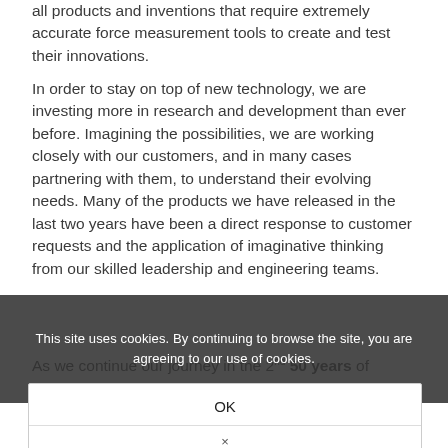all products and inventions that require extremely accurate force measurement tools to create and test their innovations.
In order to stay on top of new technology, we are investing more in research and development than ever before. Imagining the possibilities, we are working closely with our customers, and in many cases partnering with them, to understand their evolving needs. Many of the products we have released in the last two years have been a direct response to customer requests and the application of imaginative thinking from our skilled leadership and engineering teams.
As we continue our journey in the 2nd 50 years of
have on the horizon.
This site uses cookies. By continuing to browse the site, you are agreeing to our use of cookies.
OK
×